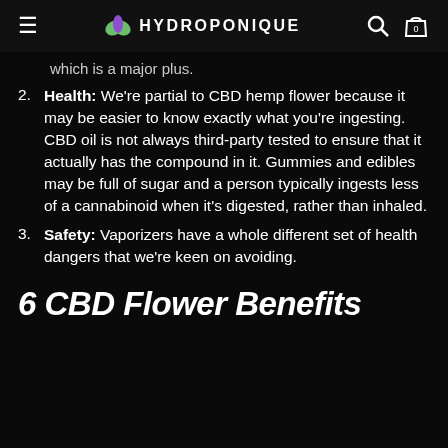HYDROPONIQUE
which is a major plus.
Health: We're partial to CBD hemp flower because it may be easier to know exactly what you're ingesting. CBD oil is not always third-party tested to ensure that it actually has the compound in it. Gummies and edibles may be full of sugar and a person typically ingests less of a cannabinoid when it's digested, rather than inhaled.
Safety: Vaporizers have a whole different set of health dangers that we're keen on avoiding.
6 CBD Flower Benefits